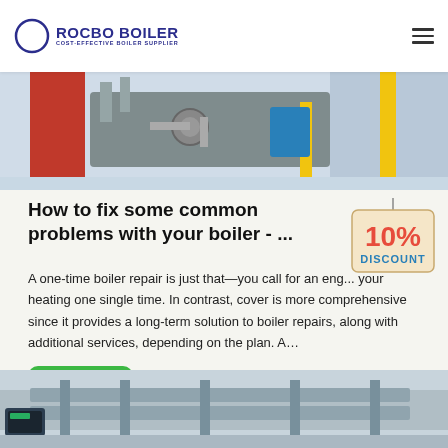ROCBO BOILER - COST-EFFECTIVE BOILER SUPPLIER
[Figure (photo): Industrial boiler equipment with pipes, valves and yellow railings]
How to fix some common problems with your boiler - ...
A one-time boiler repair is just that—you call for an eng... your heating one single time. In contrast, cover is more comprehensive since it provides a long-term solution to boiler repairs, along with additional services, depending on the plan. A...
[Figure (illustration): 10% DISCOUNT badge/sign hanging on string]
[Figure (photo): Industrial boiler machinery with metallic components]